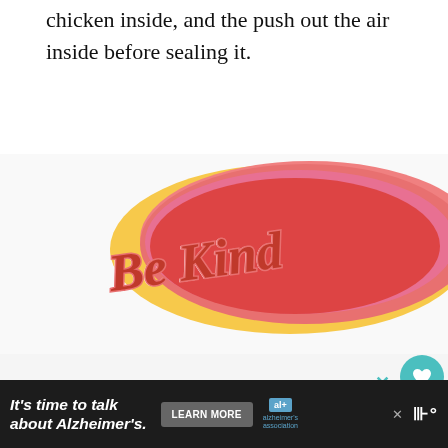chicken inside, and the push out the air inside before sealing it.
Aluminum foil and butcher paper also works well. Be sure to use oversized pieces when wrapping the chicken, making sure that you wrap it as tightly as possible.
[Figure (illustration): Decorative illustration with colorful lettering reading 'Be Kind' in red on a pink and orange background. Beside it is a 'What's Next' sidebar showing a photo and text '9 Must-Have Items for...' with social interaction buttons (heart, share) on the right.]
[Figure (screenshot): Advertisement banner at bottom: dark background with text 'It's time to talk about Alzheimer's.' with a LEARN MORE button and Alzheimer's Association logo.]